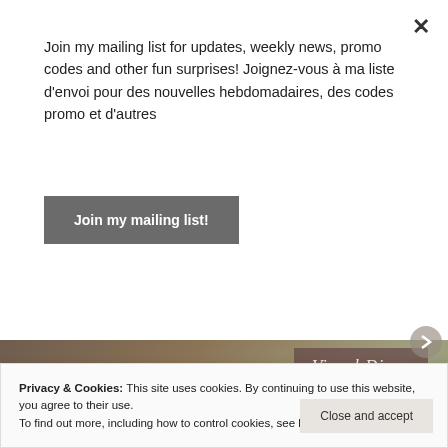Join my mailing list for updates, weekly news, promo codes and other fun surprises! Joignez-vous à ma liste d'envoi pour des nouvelles hebdomadaires, des codes promo et d'autres
Join my mailing list!
[Figure (screenshot): YouTube video thumbnail for AnneSea Illustration - Wild Flowers Visual Diary April 2021, showing a red trillium flower on forest floor with play button overlay]
Privacy & Cookies: This site uses cookies. By continuing to use this website, you agree to their use.
To find out more, including how to control cookies, see here: Cookie Policy
Close and accept